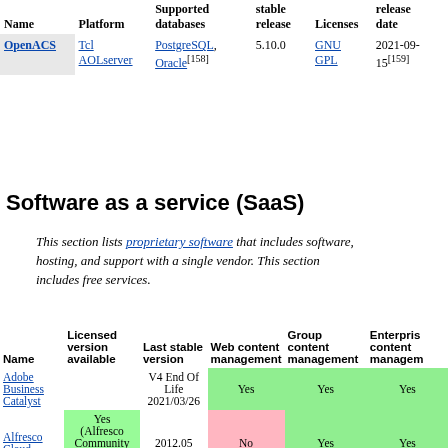| Name | Platform | Supported databases | stable release | Licenses | release date |
| --- | --- | --- | --- | --- | --- |
| OpenACS | Tcl AOLserver | PostgreSQL, Oracle[158] | 5.10.0 | GNU GPL | 2021-09-15[159] |
Software as a service (SaaS)
This section lists proprietary software that includes software, hosting, and support with a single vendor. This section includes free services.
| Name | Licensed version available | Last stable version | Web content management | Group content management | Enterprise content management |
| --- | --- | --- | --- | --- | --- |
| Adobe Business Catalyst |  | V4 End Of Life 2021/03/26 | Yes | Yes | Yes |
| Alfresco Cloud | Yes (Alfresco Community & Enterprise) | 2012.05 | No | Yes | Yes |
| censhare | Yes | 2017.02 | Yes | Yes | Yes |
|  | Yes (Community... |  |  |  |  |